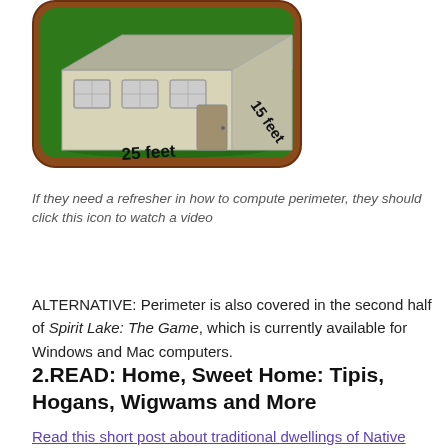[Figure (illustration): A square app icon with rounded corners, brown border, green background showing a 3D-perspective house/building illustration with windows and a door. Text annotations read '25 feet' on the bottom and '15 feet' on the right side.]
If they need a refresher in how to compute perimeter, they should click this icon to watch a video
ALTERNATIVE: Perimeter is also covered in the second half of Spirit Lake: The Game, which is currently available for Windows and Mac computers.
2.READ: Home, Sweet Home: Tipis, Hogans, Wigwams and More
Read this short post about traditional dwellings of Native American tribes from different parts of the United States. It can be read aloud as a group or individually. (Estimated time: